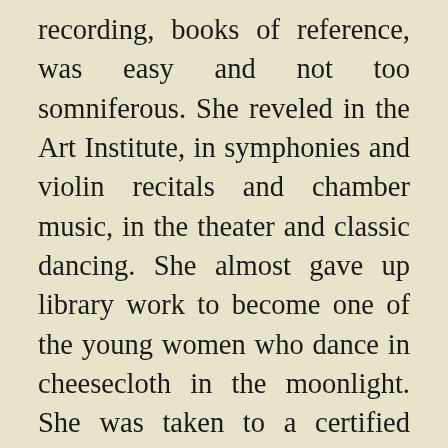recording, books of reference, was easy and not too somniferous. She reveled in the Art Institute, in symphonies and violin recitals and chamber music, in the theater and classic dancing. She almost gave up library work to become one of the young women who dance in cheesecloth in the moonlight. She was taken to a certified Studio Party, with beer, cigarettes, bobbed hair, and a Russian Jewess who sang the Internationale. It cannot be reported that Carol had anything significant to say to the Bohemians. She was awkward with them, and felt ignorant, and she was shocked by the free manners which she had for